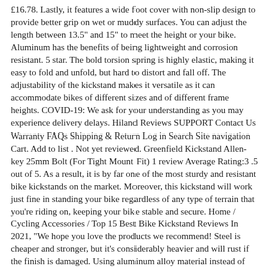£16.78. Lastly, it features a wide foot cover with non-slip design to provide better grip on wet or muddy surfaces. You can adjust the length between 13.5" and 15" to meet the height or your bike. Aluminum has the benefits of being lightweight and corrosion resistant. 5 star. The bold torsion spring is highly elastic, making it easy to fold and unfold, but hard to distort and fall off. The adjustability of the kickstand makes it versatile as it can accommodate bikes of different sizes and of different frame heights. COVID-19: We ask for your understanding as you may experience delivery delays. Hiland Reviews SUPPORT Contact Us Warranty FAQs Shipping & Return Log in Search Site navigation Cart. Add to list . Not yet reviewed. Greenfield Kickstand Allen-key 25mm Bolt (For Tight Mount Fit) 1 review Average Rating:3 .5 out of 5. As a result, it is by far one of the most sturdy and resistant bike kickstands on the market. Moreover, this kickstand will work just fine in standing your bike regardless of any type of terrain that you're riding on, keeping your bike stable and secure. Home / Cycling Accessories / Top 15 Best Bike Kickstand Reviews In 2021, "We hope you love the products we recommend! Steel is cheaper and stronger, but it's considerably heavier and will rust if the finish is damaged. Using aluminum alloy material instead of steel, not only does the kickstand reduce in weight, but it is also strong, durable and less prone to rust. Customer Reviews. You lean lean your bike against a wall using the left or right handlebar as the point of contact. But ultimately it will depend on